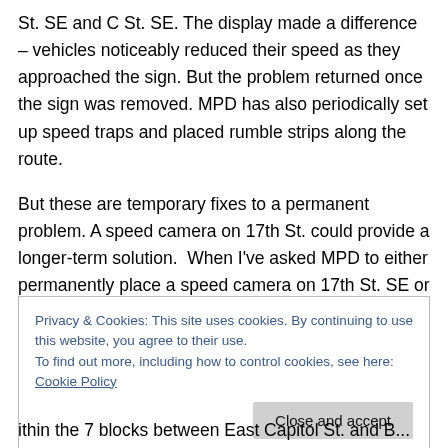St. SE and C St. SE. The display made a difference – vehicles noticeably reduced their speed as they approached the sign. But the problem returned once the sign was removed. MPD has also periodically set up speed traps and placed rumble strips along the route.
But these are temporary fixes to a permanent problem. A speed camera on 17th St. could provide a longer-term solution.  When I've asked MPD to either permanently place a speed camera on 17th St. SE or rotate a speed camera between 17th St. SE, 19th St. SE and
Privacy & Cookies: This site uses cookies. By continuing to use this website, you agree to their use.
To find out more, including how to control cookies, see here: Cookie Policy
Close and accept
ithin the 7 blocks between East Capitol St. and B...